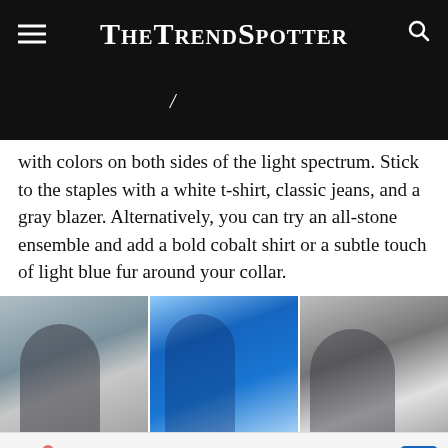TheTrendSpotter
[Figure (photo): Dark banner image area with a small slash/pen mark visible]
with colors on both sides of the light spectrum. Stick to the staples with a white t-shirt, classic jeans, and a gray blazer. Alternatively, you can try an all-stone ensemble and add a bold cobalt shirt or a subtle touch of light blue fur around your collar.
[Figure (photo): Three fashion street style photos side by side: left shows a woman in a gray turtleneck sweater, center shows a woman in a bright blue outfit on a city street, right shows a woman in a gray blazer]
Over 25 Years in Business. On Time and Honest